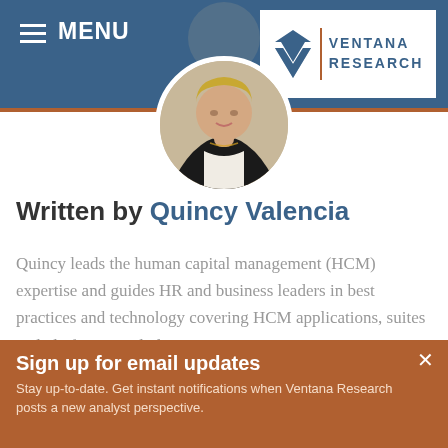MENU | VENTANA RESEARCH
[Figure (photo): Circular profile photo of Quincy Valencia, a woman with blonde hair wearing a dark blazer and white blouse with a necklace]
Written by Quincy Valencia
Quincy leads the human capital management (HCM) expertise and guides HR and business leaders in best practices and technology covering HCM applications, suites and platforms, including
Sign up for email updates
Stay up-to-date. Get instant notifications when Ventana Research posts a new analyst perspective.